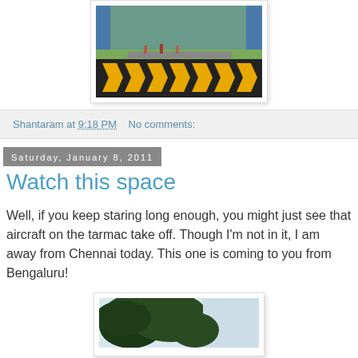[Figure (photo): Road/airport scene with black and yellow chevron warning signs on a barrier, playground or park visible in background]
Shantaram at 9:18 PM   No comments:
Saturday, January 8, 2011
Watch this space
Well, if you keep staring long enough, you might just see that aircraft on the tarmac take off. Though I'm not in it, I am away from Chennai today. This one is coming to you from Bengaluru!
[Figure (photo): Tree with green foliage against a light sky, partial view of outdoor scene]